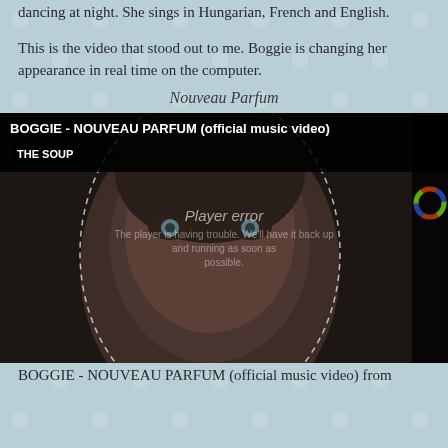dancing at night. She sings in Hungarian, French and English.
This is the video that stood out to me. Boggie is changing her appearance in real time on the computer.
Nouveau Parfum
[Figure (screenshot): Screenshot of a video player showing BOGGIE - NOUVEAU PARFUM (official music video) with a close-up of a woman's face. The player shows an error message reading 'Player error' and 'The player is having trouble. We'll have it back up and running as soon as possible.' A side panel with color tools is visible on the right. A 'THE SOUP' tag is shown in the upper left.]
BOGGIE - NOUVEAU PARFUM (official music video) from